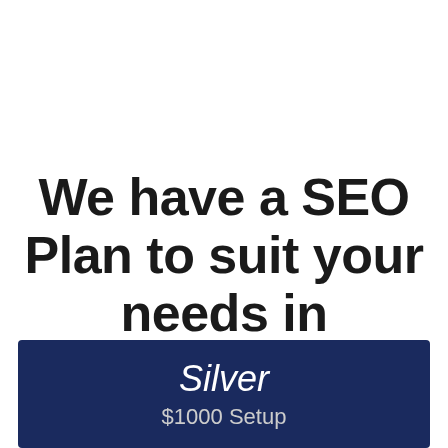We have a SEO Plan to suit your needs in Morgantown
Select the SEO package and plan that works for your business and let's get started today!
[Figure (other): Cyan rounded button with avatar photo on the left and 'Click to connect' text]
Silver
$1000 Setup